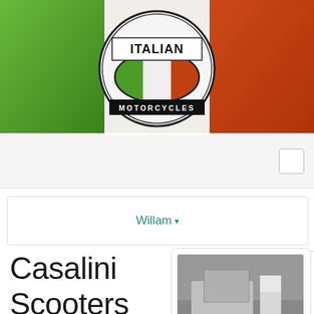[Figure (illustration): Italian Motorcycles banner with Italian flag (green, white, red stripes) and oval logo in center reading ITALIAN MOTORCYCLES with Italian flag colors inside the oval]
[Figure (screenshot): Search bar area with a small checkbox/search box in the upper right]
Willam ▾
Casalini Scooters and
[Figure (photo): Black and white photo of a Casalini David Motofurgoni three-wheeled cargo scooter with a person standing nearby]
Casalini David Motofurgoni
Motorcycles